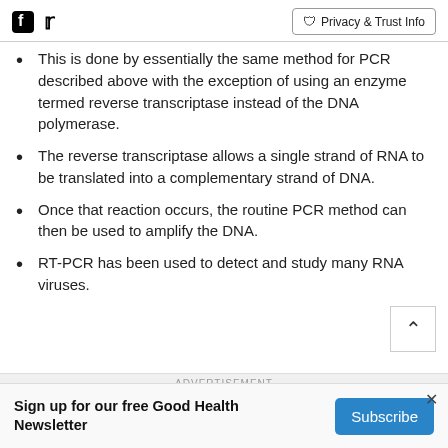Facebook Twitter | Privacy & Trust Info
This is done by essentially the same method for PCR described above with the exception of using an enzyme termed reverse transcriptase instead of the DNA polymerase.
The reverse transcriptase allows a single strand of RNA to be translated into a complementary strand of DNA.
Once that reaction occurs, the routine PCR method can then be used to amplify the DNA.
RT-PCR has been used to detect and study many RNA viruses.
ADVERTISEMENT
Sign up for our free Good Health Newsletter  Subscribe